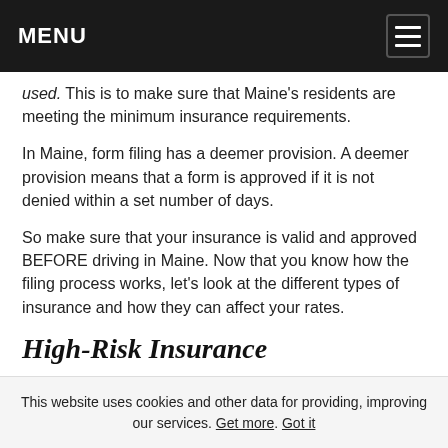MENU
used. This is to make sure that Maine's residents are meeting the minimum insurance requirements.
In Maine, form filing has a deemer provision. A deemer provision means that a form is approved if it is not denied within a set number of days.
So make sure that your insurance is valid and approved BEFORE driving in Maine. Now that you know how the filing process works, let's look at the different types of insurance and how they can affect your rates.
High-Risk Insurance
Sometimes Maine will require drivers to file an SR-22…
This website uses cookies and other data for providing, improving our services. Get more. Got it